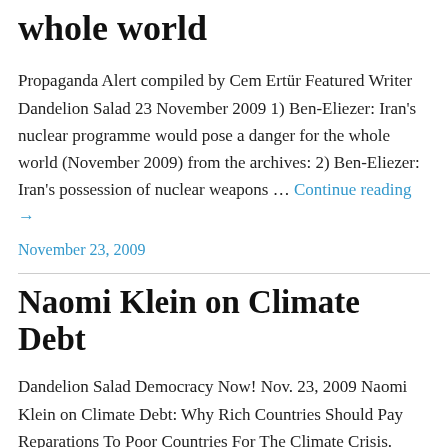whole world
Propaganda Alert compiled by Cem Ertür Featured Writer Dandelion Salad 23 November 2009 1) Ben-Eliezer: Iran's nuclear programme would pose a danger for the whole world (November 2009) from the archives: 2) Ben-Eliezer: Iran's possession of nuclear weapons … Continue reading →
November 23, 2009
Naomi Klein on Climate Debt
Dandelion Salad Democracy Now! Nov. 23, 2009 Naomi Klein on Climate Debt: Why Rich Countries Should Pay Reparations To Poor Countries For The Climate Crisis. Wh...